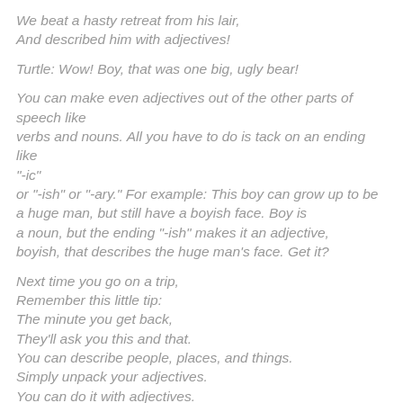We beat a hasty retreat from his lair,
And described him with adjectives!
Turtle: Wow! Boy, that was one big, ugly bear!
You can make even adjectives out of the other parts of speech like
verbs and nouns. All you have to do is tack on an ending like "-ic"
or "-ish" or "-ary." For example: This boy can grow up to be a huge man, but still have a boyish face. Boy is
a noun, but the ending "-ish" makes it an adjective,
boyish, that describes the huge man's face. Get it?
Next time you go on a trip,
Remember this little tip:
The minute you get back,
They'll ask you this and that.
You can describe people, places, and things.
Simply unpack your adjectives.
You can do it with adjectives.
Tell 'em about it with adjectives.